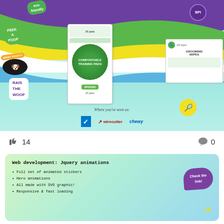[Figure (illustration): Colorful pet brand banner with wavy background layers (purple, green, yellow, white, blue, mint), showing Training Pads and Grooming Wipes product boxes, cartoon dog mascot, brand taglines (eco friendly, peek a poop, raise the woof), BPI badge, and logos for Verizon check, wirecutter, and chewy at bottom. Text: 'Where you've seen us:']
👍 14
💬 0
[Figure (illustration): Green-to-blue gradient card with title 'Web development: Jquery animations' and bullet list. Purple oval button 'Check the link!' with yellow arrow.]
Web development: Jquery animations
• Full set of animated stickers
• Hero animations
• All made with SVG graphic!
• Responsive & fast loading